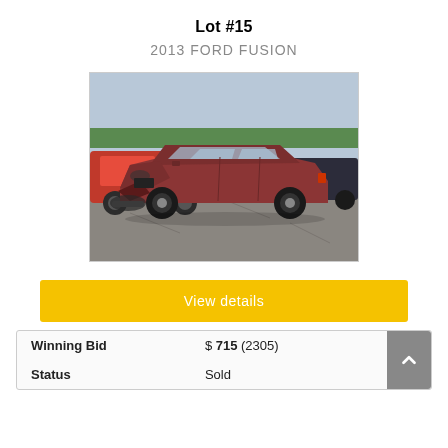Lot #15
2013 FORD FUSION
[Figure (photo): Damaged 2013 Ford Fusion (dark red/maroon) in a salvage yard lot, front end damage with bumper missing, other cars visible in background.]
View details
| Winning Bid | $ 715 (2305) |
| Status | Sold |